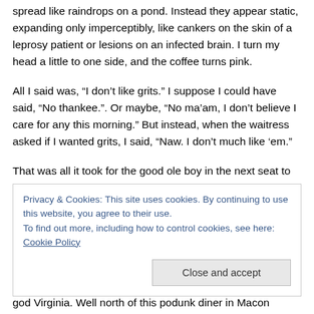spread like raindrops on a pond. Instead they appear static, expanding only imperceptibly, like cankers on the skin of a leprosy patient or lesions on an infected brain. I turn my head a little to one side, and the coffee turns pink.
All I said was, “I don’t like grits.” I suppose I could have said, “No thankee.”. Or maybe, “No ma’am, I don’t believe I care for any this morning.” But instead, when the waitress asked if I wanted grits, I said, “Naw. I don’t much like ‘em.”
That was all it took for the good ole boy in the next seat to
Privacy & Cookies: This site uses cookies. By continuing to use this website, you agree to their use.
To find out more, including how to control cookies, see here: Cookie Policy
Close and accept
god Virginia. Well north of this podunk diner in Macon